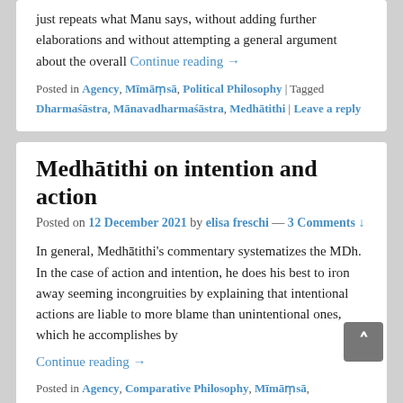just repeats what Manu says, without adding further elaborations and without attempting a general argument about the overall Continue reading →
Posted in Agency, Mīmāṃsā, Political Philosophy | Tagged Dharmaśāstra, Mānavadharmaśāstra, Medhātithi | Leave a reply
Medhātithi on intention and action
Posted on 12 December 2021 by elisa freschi — 3 Comments ↓
In general, Medhātithi's commentary systematizes the MDh. In the case of action and intention, he does his best to iron away seeming incongruities by explaining that intentional actions are liable to more blame than unintentional ones, which he accomplishes by Continue reading →
Posted in Agency, Comparative Philosophy, Mīmāṃsā, Psychology | 3 Replies